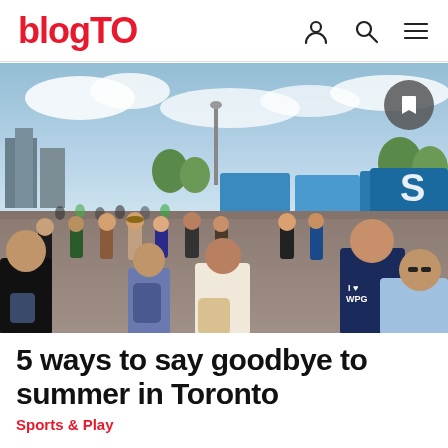blogTO
[Figure (photo): Outdoor crowd scene at a Toronto food truck festival with blue sky, CN Tower visible in the background, people walking on a paved area surrounded by colourful food trucks]
5 ways to say goodbye to summer in Toronto
Sports & Play